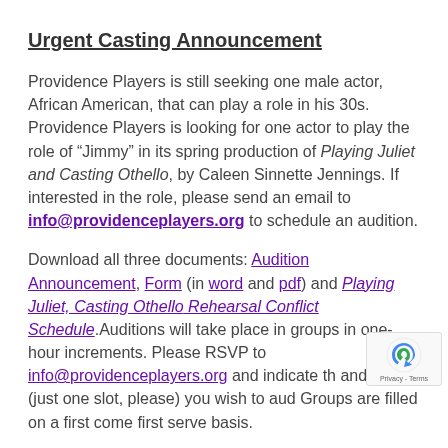Urgent Casting Announcement
Providence Players is still seeking one male actor, African American, that can play a role in his 30s. Providence Players is looking for one actor to play the role of “Jimmy” in its spring production of Playing Juliet and Casting Othello, by Caleen Sinnette Jennings.  If interested in the role, please send an email to info@providenceplayers.org to schedule an audition.
Download all three documents: Audition Announcement, Form (in word and pdf) and Playing Juliet, Casting Othello Rehearsal Conflict Schedule.Auditions will take place in groups in one-hour increments.  Please RSVP to info@providenceplayers.org and indicate th… and time (just one slot, please) you wish to aud… Groups are filled on a first come first serve basis.